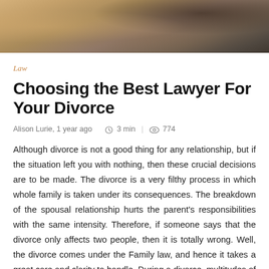[Figure (photo): Photo of hands signing divorce papers on a wooden desk with a black object (possibly a gavel or jewelry box) in the background]
Law
Choosing the Best Lawyer For Your Divorce
Alison Lurie, 1 year ago   3 min  |   774
Although divorce is not a good thing for any relationship, but if the situation left you with nothing, then these crucial decisions are to be made. The divorce is a very filthy process in which whole family is taken under its consequences. The breakdown of the spousal relationship hurts the parent's responsibilities with the same intensity. Therefore, if someone says that the divorce only affects two people, then it is totally wrong. Well, the divorce comes under the Family law, and hence it takes a great care and clarity to handle. During a divorce, multitudes of things are on stake, like from child custody to spousal alimony. Therefore, you should